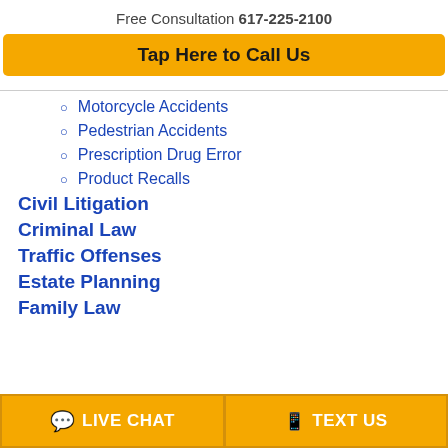Free Consultation 617-225-2100
Tap Here to Call Us
Motorcycle Accidents
Pedestrian Accidents
Prescription Drug Error
Product Recalls
Civil Litigation
Criminal Law
Traffic Offenses
Estate Planning
Family Law
LIVE CHAT
TEXT US